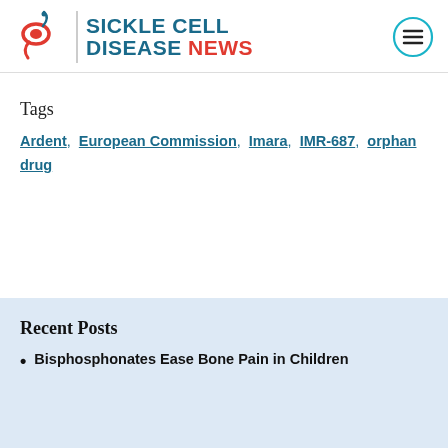SICKLE CELL DISEASE NEWS
Tags
Ardent, European Commission, Imara, IMR-687, orphan drug
Recent Posts
Bisphosphonates Ease Bone Pain in Children